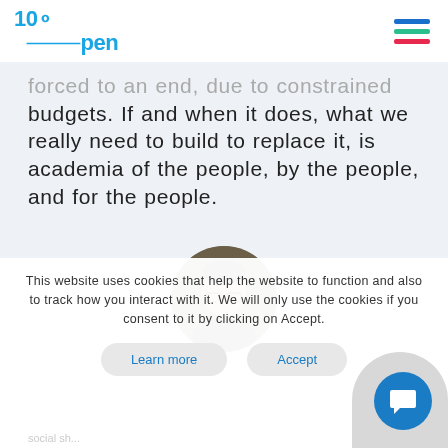100Open
forced to an end, due to constrained budgets. If and when it does, what we really need to build to replace it, is academia of the people, by the people, and for the people.
[Figure (photo): Circular profile photo of a man with glasses]
This website uses cookies that help the website to function and also to track how you interact with it. We will only use the cookies if you consent to it by clicking on Accept.
Learn more   Accept
social sh...